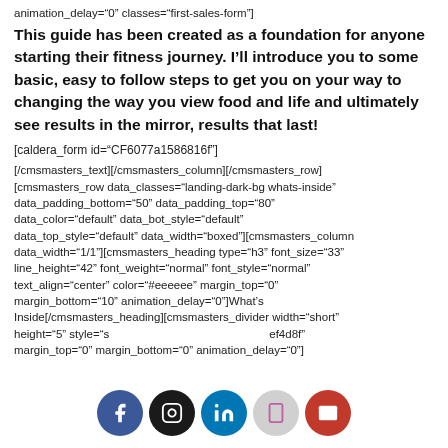animation_delay="0" classes="first-sales-form"]
This guide has been created as a foundation for anyone starting their fitness journey. I'll introduce you to some basic, easy to follow steps to get you on your way to changing the way you view food and life and ultimately see results in the mirror, results that last!
[caldera_form id="CF6077a1586816f"]
[/cmsmasters_text][/cmsmasters_column][/cmsmasters_row] [cmsmasters_row data_classes="landing-dark-bg whats-inside" data_padding_bottom="50" data_padding_top="80" data_color="default" data_bot_style="default" data_top_style="default" data_width="boxed"][cmsmasters_column data_width="1/1"][cmsmasters_heading type="h3" font_size="33" line_height="42" font_weight="normal" font_style="normal" text_align="center" color="#eeeeee" margin_top="0" margin_bottom="10" animation_delay="0"]What's Inside[/cmsmasters_heading][cmsmasters_divider width="short" height="5" style="s...t..." l...ef4d8f" margin_top="0" margin_bottom="0" animation_delay="0"]